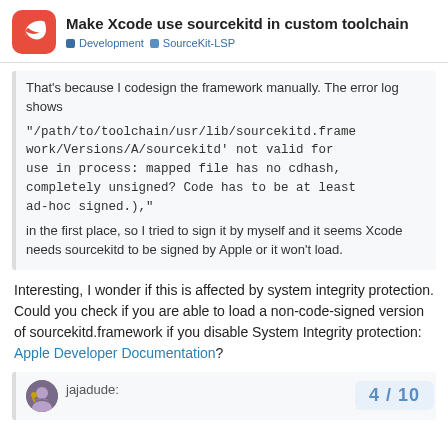Make Xcode use sourcekitd in custom toolchain — Development · SourceKit-LSP
That's because I codesign the framework manually. The error log shows "/path/to/toolchain/usr/lib/sourcekitd.framework/Versions/A/sourcekitd' not valid for use in process: mapped file has no cdhash, completely unsigned? Code has to be at least ad-hoc signed.)," in the first place, so I tried to sign it by myself and it seems Xcode needs sourcekitd to be signed by Apple or it won't load.
Interesting, I wonder if this is affected by system integrity protection. Could you check if you are able to load a non-code-signed version of sourcekitd.framework if you disable System Integrity protection: Apple Developer Documentation?
jajadude:
4 / 10